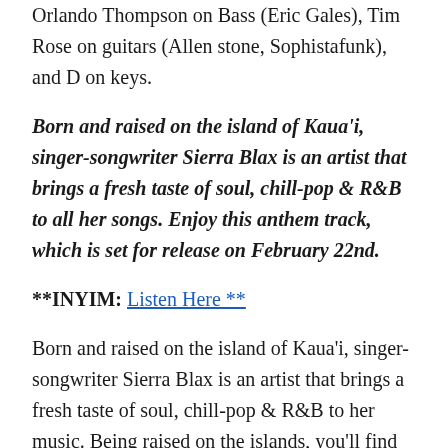Orlando Thompson on Bass (Eric Gales), Tim Rose on guitars (Allen stone, Sophistafunk), and D on keys.
Born and raised on the island of Kaua'i, singer-songwriter Sierra Blax is an artist that brings a fresh taste of soul, chill-pop & R&B to all her songs. Enjoy this anthem track, which is set for release on February 22nd.
**INYIM: Listen Here **
Born and raised on the island of Kaua'i, singer-songwriter Sierra Blax is an artist that brings a fresh taste of soul, chill-pop & R&B to her music. Being raised on the islands, you'll find from time to time, Sierra uses her landscape of palm trees and ocean breezes as inspiration for her lyrics and melodies that gives the ear this elated feeling. It is no surprise that